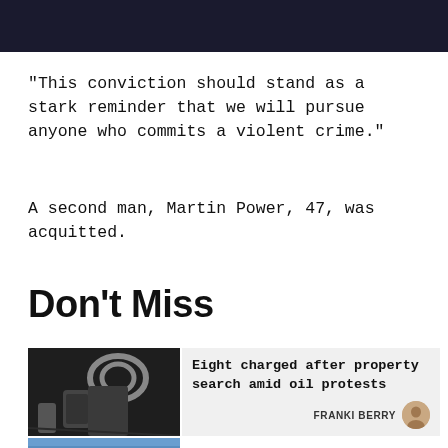[Figure (other): Dark navigation bar at the top of the page]
“This conviction should stand as a stark reminder that we will pursue anyone who commits a violent crime.”
A second man, Martin Power, 47, was acquitted.
Don't Miss
[Figure (photo): Photo of handcuffs and police equipment on dark fabric]
Eight charged after property search amid oil protests
FRANKI BERRY
[Figure (photo): Partial view of second article image at bottom of page]